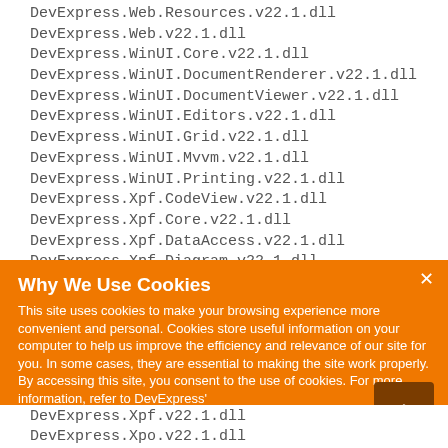DevExpress.Web.Resources.v22.1.dll
DevExpress.Web.v22.1.dll
DevExpress.WinUI.Core.v22.1.dll
DevExpress.WinUI.DocumentRenderer.v22.1.dll
DevExpress.WinUI.DocumentViewer.v22.1.dll
DevExpress.WinUI.Editors.v22.1.dll
DevExpress.WinUI.Grid.v22.1.dll
DevExpress.WinUI.Mvvm.v22.1.dll
DevExpress.WinUI.Printing.v22.1.dll
DevExpress.Xpf.CodeView.v22.1.dll
DevExpress.Xpf.Core.v22.1.dll
DevExpress.Xpf.DataAccess.v22.1.dll
DevExpress.Xpf.Diagram.v22.1.dll
DevExpress.Xpf.Docking.v22.1.dll
[Figure (screenshot): Cookie consent dialog with orange background. Title: 'Why We Use Cookies'. Body text: 'This site uses cookies to make your browsing experience more convenient and personal. Cookies store useful information on your computer to help us improve the efficiency and relevance of our site for you. In some cases, they are essential to making the site work properly. By accessing this site, you consent to the use of cookies. For more information, refer to DevExpress' privacy policy and cookie policy.' Button: 'I UNDERSTAND'. Close button (x). Scroll-to-top arrow button.]
DevExpress.Xpf.v22.1.dll
DevExpress.Xpo.v22.1.dll